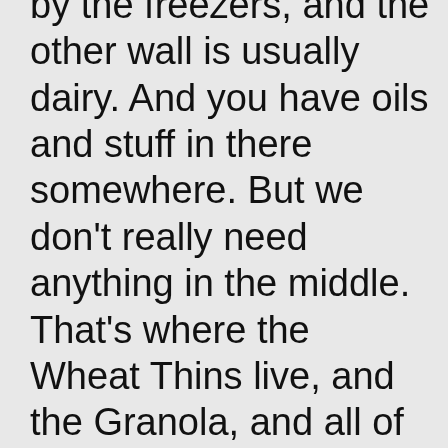by the freezers, and the other wall is usually dairy. And you have oils and stuff in there somewhere. But we don't really need anything in the middle. That's where the Wheat Thins live, and the Granola, and all of the things that trip us up, that just decrease our quality of life. So, the first one is always stick to the perimeter or the